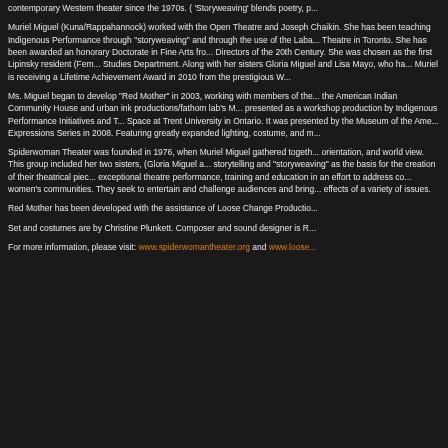contemporary Western theater since the 1970s. ('Storyweaving' blends poetry, p...
Muriel Miguel (Kuna/Rappahannock) worked with the Open Theatre and Joseph Chaikin. She has been teaching Indigenous Performance through "storyweaving" and through the use of the Laban Movement method at her Spiderwoman Theatre in Toronto. She has been awarded an honorary Doctorate in Fine Arts from Florida State University as one of the Directors of the 20th Century. She was chosen as the first Lipinsky resident (Feminist perspective) in the Womens Studies Department. Along with her sisters Gloria Miguel and Lisa Mayo, who have been in the theater over 30 years, Muriel is receiving a Lifetime Achievement Award in 2010 from the prestigious Women in Theater organization.
Ms. Miguel began to develop "Red Mother" in 2003, working with members of the Spiderwoman Theater ensemble and the American Indian Community House and urban ink productions/fathom lab's Muriel Miguel. "Red Mother" was presented as a workshop production by Indigenous Performance Initiatives and Trent University at the Performance Space at Trent University in Ontario. It was presented by the Museum of the American Indian in the Living Voices Expressions Series in 2008. Featuring greatly expanded lighting, costume, and n...
Spiderwoman Theater was founded in 1976, when Muriel Miguel gathered together women of varying background, orientation, and world view. This group included her two sisters, (Gloria Miguel and Lisa Mayo). They use personal storytelling and "storyweaving" as the basis for the creation of their theatrical pieces. Spiderwoman Theater provides exceptional theatre performance, training and education in an effort to address concerns within indigenous and women's communities. They seek to entertain and challenge audiences and bring attention to the causes and effects of a variety of issues.
Red Mother has been developed with the assistance of Loose Change Productio...
Set and costumes are by Christine Plunkett. Composer and sound designer is R...
For more information, please visit: www.spiderwomantheater.org and www.loose...